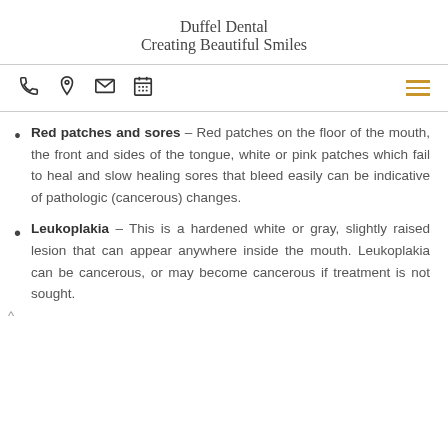Duffel Dental
Creating Beautiful Smiles
Red patches and sores – Red patches on the floor of the mouth, the front and sides of the tongue, white or pink patches which fail to heal and slow healing sores that bleed easily can be indicative of pathologic (cancerous) changes.
Leukoplakia – This is a hardened white or gray, slightly raised lesion that can appear anywhere inside the mouth. Leukoplakia can be cancerous, or may become cancerous if treatment is not sought.